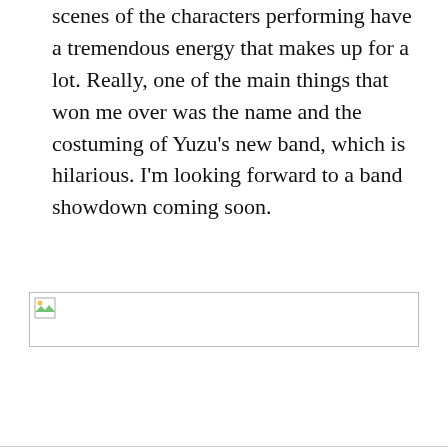scenes of the characters performing have a tremendous energy that makes up for a lot. Really, one of the main things that won me over was the name and the costuming of Yuzu's new band, which is hilarious. I'm looking forward to a band showdown coming soon.
[Figure (photo): A broken/missing image placeholder icon — a small landscape thumbnail icon in the top-left corner of an empty rectangular image box with a border.]